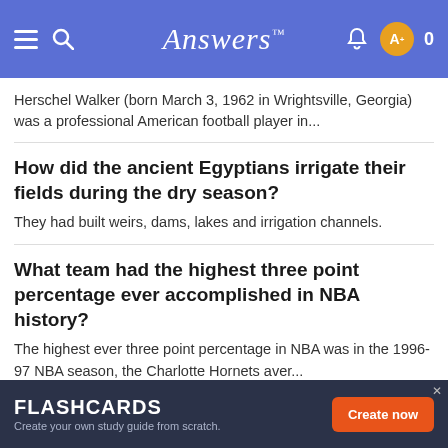Answers™
Herschel Walker (born March 3, 1962 in Wrightsville, Georgia) was a professional American football player in...
How did the ancient Egyptians irrigate their fields during the dry season?
They had built weirs, dams, lakes and irrigation channels.
What team had the highest three point percentage ever accomplished in NBA history?
The highest ever three point percentage in NBA was in the 1996-97 NBA season, the Charlotte Hornets aver...
How many switch hitters do the New York Yankees
FLASHCARDS — Create your own study guide from scratch. Create now